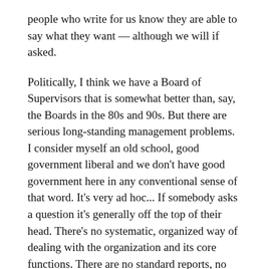people who write for us know they are able to say what they want — although we will if asked.
Politically, I think we have a Board of Supervisors that is somewhat better than, say, the Boards in the 80s and 90s. But there are serious long-standing management problems. I consider myself an old school, good government liberal and we don't have good government here in any conventional sense of that word. It's very ad hoc... If somebody asks a question it's generally off the top of their head. There's no systematic, organized way of dealing with the organization and its core functions. There are no standard reports, no tracking, no useful historical record for departmental reporting...
Why don't we have ordinary reports on cost drivers by department? How many arrests per day are we running? What is the jail population? What road crew